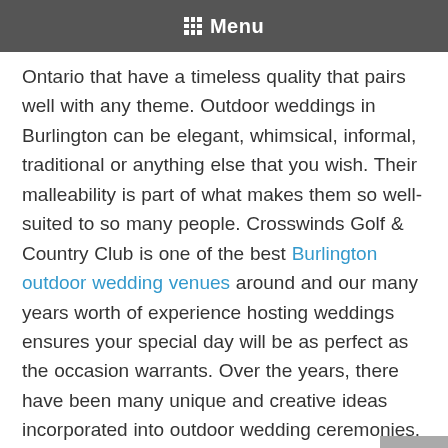Menu
Ontario that have a timeless quality that pairs well with any theme. Outdoor weddings in Burlington can be elegant, whimsical, informal, traditional or anything else that you wish. Their malleability is part of what makes them so well-suited to so many people. Crosswinds Golf & Country Club is one of the best Burlington outdoor wedding venues around and our many years worth of experience hosting weddings ensures your special day will be as perfect as the occasion warrants. Over the years, there have been many unique and creative ideas incorporated into outdoor wedding ceremonies. Here are some of our favourites from years past that you may wish to adapt for